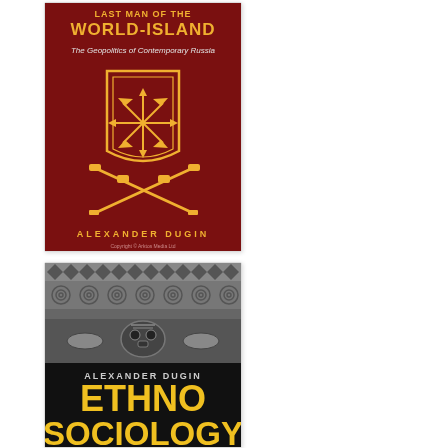[Figure (illustration): Book cover: 'Last Man of the World-Island: The Geopolitics of Contemporary Russia' by Alexander Dugin. Dark red/maroon background with orange/gold text and a shield emblem containing an 8-pointed arrow star, flanked by crossed rifles/muskets at the bottom.]
[Figure (illustration): Book cover: 'Ethnosociology' by Alexander Dugin. Black background with gray decorative ethnic/folk pattern bands at the top, an ornate face/mask motif, and large bold yellow text 'ETHNO SOCIOLOGY' at the bottom.]